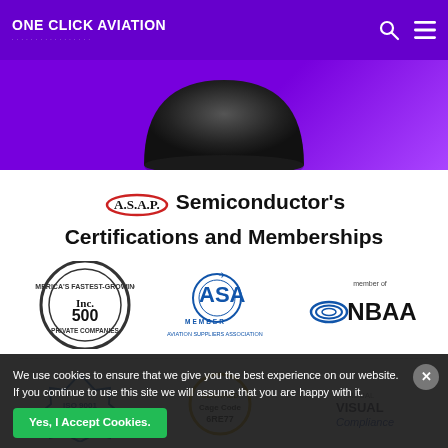ONE CLICK AVIATION
[Figure (illustration): Purple/violet hero band with a dark spherical object (camera dome) centered at top]
A.S.A.P. Semiconductor's Certifications and Memberships
[Figure (logo): Inc. 500 America's Fastest-Growing Private Companies circular badge logo]
[Figure (logo): ASA Member - Aviation Suppliers Association logo with globe and airplane]
[Figure (logo): Member of NBAA logo]
[Figure (logo): ISO 9001:2015 certification logo]
[Figure (logo): Cage Code 6RE77 certification badge]
[Figure (logo): Visual Compliance logo]
We use cookies to ensure that we give you the best experience on our website. If you continue to use this site we will assume that you are happy with it.
Yes, I Accept Cookies.